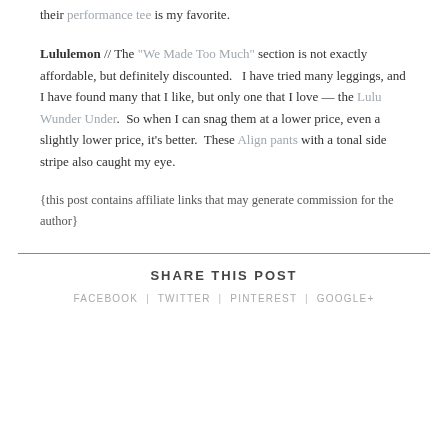their performance tee is my favorite.
Lululemon // The "We Made Too Much" section is not exactly affordable, but definitely discounted.   I have tried many leggings, and I have found many that I like, but only one that I love — the Lulu Wunder Under.  So when I can snag them at a lower price, even a slightly lower price, it's better.  These Align pants with a tonal side stripe also caught my eye.
{this post contains affiliate links that may generate commission for the author}
SHARE THIS POST
FACEBOOK | TWITTER | PINTEREST | GOOGLE+